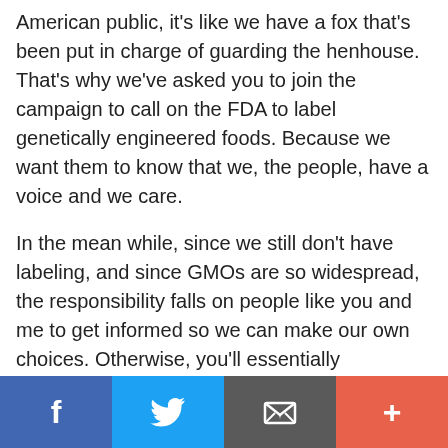American public, it's like we have a fox that's been put in charge of guarding the henhouse. That's why we've asked you to join the campaign to call on the FDA to label genetically engineered foods. Because we want them to know that we, the people, have a voice and we care.
In the mean while, since we still don't have labeling, and since GMOs are so widespread, the responsibility falls on people like you and me to get informed so we can make our own choices. Otherwise, you'll essentially
[Figure (infographic): Social media share bar with four buttons: Facebook (blue, f icon), Twitter (light blue, bird icon), Email/envelope (dark gray, envelope icon), and plus/more (red-orange, + icon)]